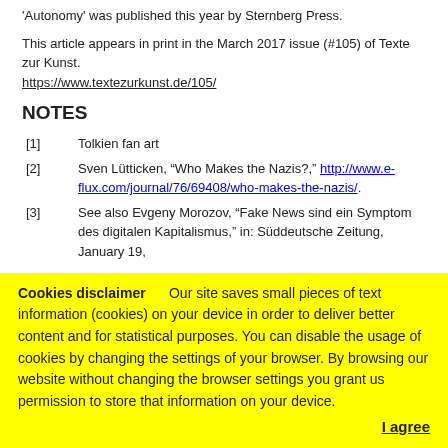'Autonomy' was published this year by Sternberg Press.
This article appears in print in the March 2017 issue (#105) of Texte zur Kunst.
https://www.textezurkunst.de/105/
NOTES
[1]   Tolkien fan art
[2]   Sven Lütticken, “Who Makes the Nazis?,” http://www.e-flux.com/journal/76/69408/who-makes-the-nazis/.
[3]   See also Evgeny Morozov, “Fake News sind ein Symptom des digitalen Kapitalismus,” in: Süddeutsche Zeitung, January 19,
Cookies disclaimer   Our site saves small pieces of text information (cookies) on your device in order to deliver better content and for statistical purposes. You can disable the usage of cookies by changing the settings of your browser. By browsing our website without changing the browser settings you grant us permission to store that information on your device.
I agree